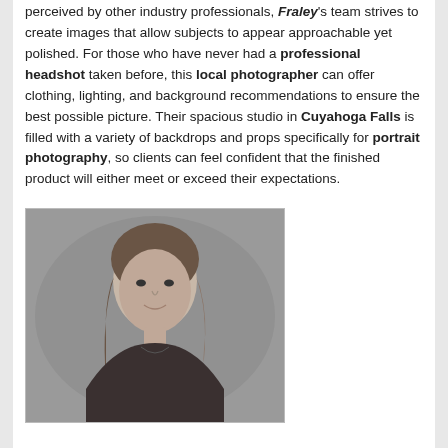perceived by other industry professionals, Fraley's team strives to create images that allow subjects to appear approachable yet polished. For those who have never had a professional headshot taken before, this local photographer can offer clothing, lighting, and background recommendations to ensure the best possible picture. Their spacious studio in Cuyahoga Falls is filled with a variety of backdrops and props specifically for portrait photography, so clients can feel confident that the finished product will either meet or exceed their expectations.
[Figure (photo): Black and white professional headshot of a young woman with long straight hair, smiling slightly, wearing a dark top, against a neutral gray studio background.]